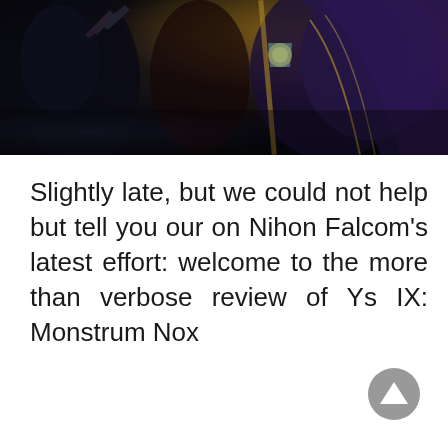[Figure (illustration): Dark fantasy game artwork showing characters with claws and weapons against a dark background with purple and gold tones, likely from Ys IX: Monstrum Nox]
Slightly late, but we could not help but tell you our on Nihon Falcom's latest effort: welcome to the more than verbose review of Ys IX: Monstrum Nox